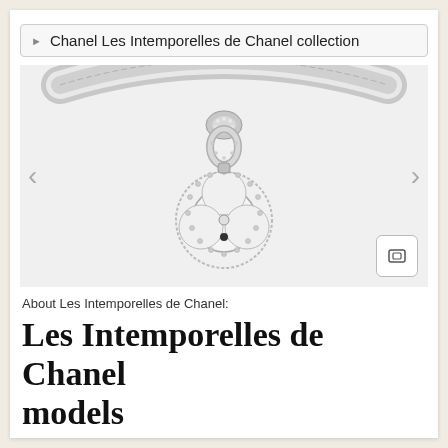Chanel Les Intemporelles de Chanel collection
[Figure (photo): Close-up photo of a Chanel Les Intemporelles de Chanel pendant watch on a diamond-encrusted necklace. The pendant features a white mother-of-pearl clover/flower shape surrounded by diamonds, hanging from an ornate diamond-set bail on a rigid diamond bangle.]
About Les Intemporelles de Chanel:
Les Intemporelles de Chanel models